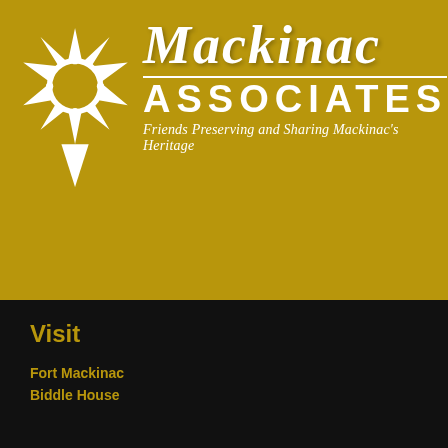[Figure (logo): Mackinac Associates logo with white star/snowflake emblem on gold background and decorative MACKINAC text with ASSOCIATES subtitle]
MACKINAC ASSOCIATES
Friends Preserving and Sharing Mackinac's Heritage
Visit
Fort Mackinac
Biddle House